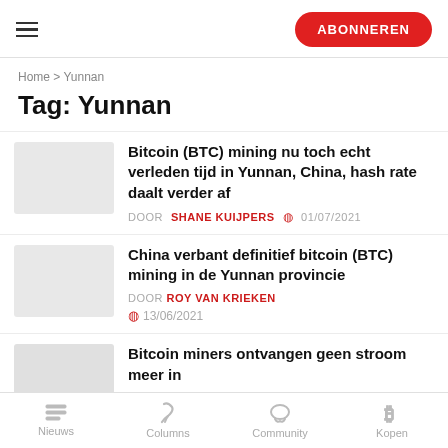ABONNEREN
Home > Yunnan
Tag: Yunnan
Bitcoin (BTC) mining nu toch echt verleden tijd in Yunnan, China, hash rate daalt verder af
DOOR SHANE KUIJPERS  01/07/2021
China verbant definitief bitcoin (BTC) mining in de Yunnan provincie
DOOR ROY VAN KRIEKEN
13/06/2021
Bitcoin miners ontvangen geen stroom meer in
Nieuws  Columns  Community  Kopen